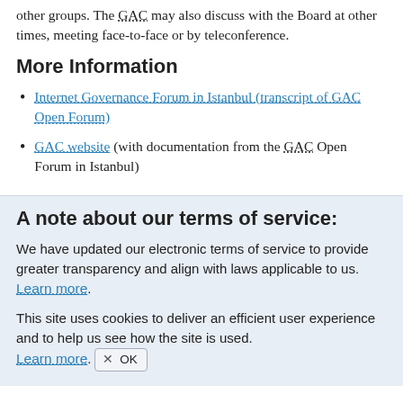other groups. The GAC may also discuss with the Board at other times, meeting face-to-face or by teleconference.
More Information
Internet Governance Forum in Istanbul (transcript of GAC Open Forum)
GAC website (with documentation from the GAC Open Forum in Istanbul)
A note about our terms of service:
We have updated our electronic terms of service to provide greater transparency and align with laws applicable to us. Learn more.
This site uses cookies to deliver an efficient user experience and to help us see how the site is used. Learn more. ✕ OK